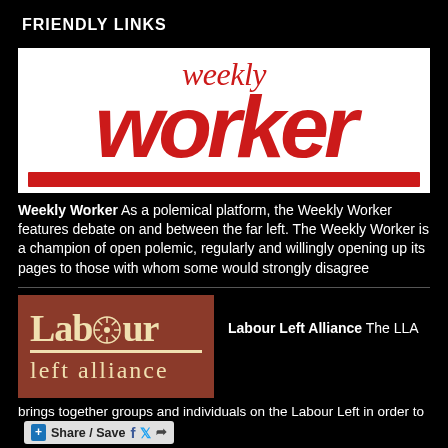FRIENDLY LINKS
[Figure (logo): Weekly Worker newspaper logo — red italic 'weekly' in serif above large bold italic red 'worker' in sans-serif, with a thick red rule beneath, on white background]
Weekly Worker As a polemical platform, the Weekly Worker features debate on and between the far left. The Weekly Worker is a champion of open polemic, regularly and willingly opening up its pages to those with whom some would strongly disagree
[Figure (logo): Labour Left Alliance logo — cream text 'Labour' above a decorative wheel symbol, with 'left alliance' below, on a terracotta/rust red-brown background]
Labour Left Alliance The LLA
brings together groups and individuals on the Labour Left in order to